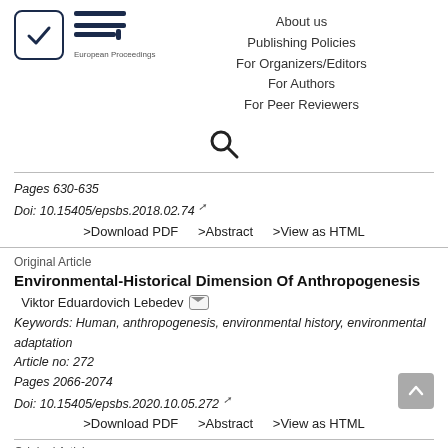[Figure (logo): European Proceedings logo with checkmark in rounded square and EP lines, plus navigation links: About us, Publishing Policies, For Organizers/Editors, For Authors, For Peer Reviewers]
[Figure (other): Search icon (magnifying glass)]
Pages 630-635
Doi: 10.15405/epsbs.2018.02.74
>Download PDF    >Abstract    >View as HTML
Original Article
Environmental-Historical Dimension Of Anthropogenesis
Viktor Eduardovich Lebedev
Keywords: Human, anthropogenesis, environmental history, environmental adaptation
Article no: 272
Pages 2066-2074
Doi: 10.15405/epsbs.2020.10.05.272
>Download PDF    >Abstract    >View as HTML
Original Article